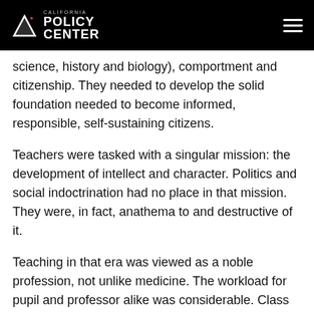California Policy Center
science, history and biology), comportment and citizenship. They needed to develop the solid foundation needed to become informed, responsible, self-sustaining citizens.
Teachers were tasked with a singular mission: the development of intellect and character. Politics and social indoctrination had no place in that mission. They were, in fact, anathema to and destructive of it.
Teaching in that era was viewed as a noble profession, not unlike medicine. The workload for pupil and professor alike was considerable. Class size was large, often thirty or forty students packed into a one-room